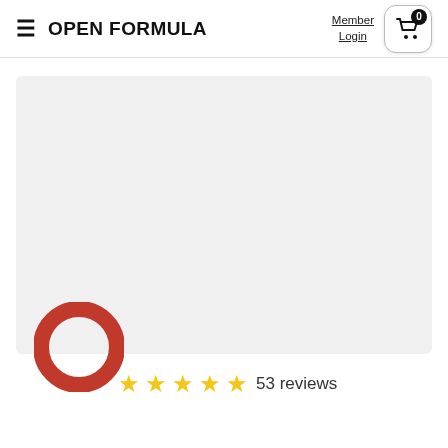OPEN FORMULA  Member Login  0
[Figure (other): Large white/light gray product image area (placeholder)]
[Figure (logo): Open Formula logo - red circular ring icon]
★★★★★ 53 reviews